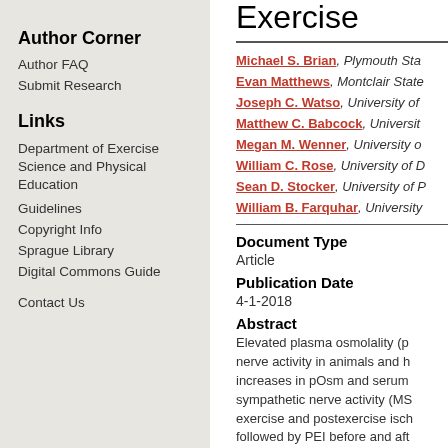Author Corner
Author FAQ
Submit Research
Links
Department of Exercise Science and Physical Education
Guidelines
Copyright Info
Sprague Library
Digital Commons Guide
Contact Us
Exercise
Michael S. Brian, Plymouth State; Evan Matthews, Montclair State; Joseph C. Watso, University of; Matthew C. Babcock, University; Megan M. Wenner, University of; William C. Rose, University of D; Sean D. Stocker, University of P; William B. Farquhar, University
Document Type
Article
Publication Date
4-1-2018
Abstract
Elevated plasma osmolality (p nerve activity in animals and h increases in pOsm and serum sympathetic nerve activity (MS exercise and postexercise isch followed by PEI before and aft Eighteen participants (age 23